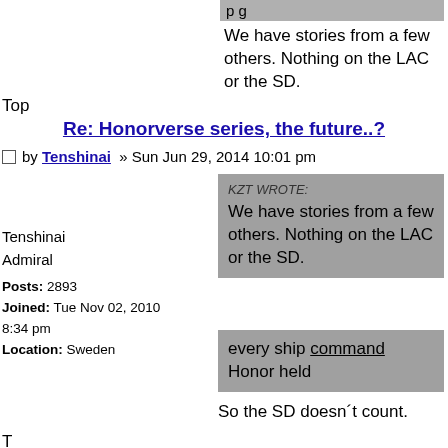We have stories from a few others. Nothing on the LAC or the SD.
Top
Re: Honorverse series, the future..?
by Tenshinai » Sun Jun 29, 2014 10:01 pm
KZT WROTE:
We have stories from a few others. Nothing on the LAC or the SD.
Tenshinai
Admiral

Posts: 2893
Joined: Tue Nov 02, 2010 8:34 pm
Location: Sweden
every ship command Honor held
So the SD doesn´t count.
Top